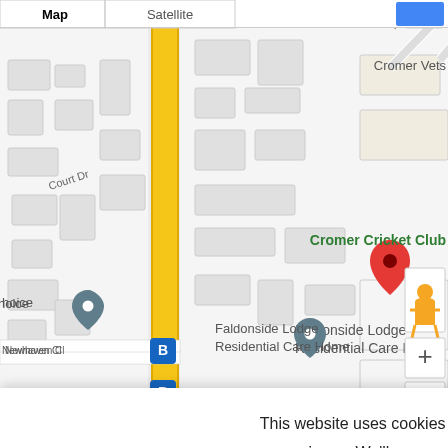[Figure (map): Google Maps screenshot showing the area around Faldonside Lodge Residential Care Home. Map shows streets including Court Dr, Prior Bank Orch, Newhaven Cl, a yellow main road, location pins for Faldonside Lodge Residential Care Home, The Royal British Legion, Cromer Vets, Cromer Cricket Club. Map controls visible including zoom +/-, pegman, fullscreen button. Map tab bar at top showing Map and Satellite tabs. Map data copyright 2022 and Terms of Use shown at bottom.]
This website uses cookies to improve your experience. We'll assume you're ok with this, but you can opt-out if you wish.
Cookie settings  ACCEPT